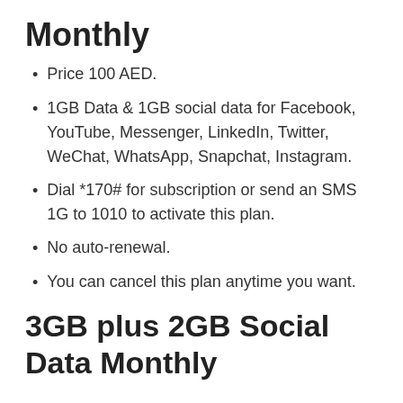Monthly
Price 100 AED.
1GB Data & 1GB social data for Facebook, YouTube, Messenger, LinkedIn, Twitter, WeChat, WhatsApp, Snapchat, Instagram.
Dial *170# for subscription or send an SMS 1G to 1010 to activate this plan.
No auto-renewal.
You can cancel this plan anytime you want.
3GB plus 2GB Social Data Monthly